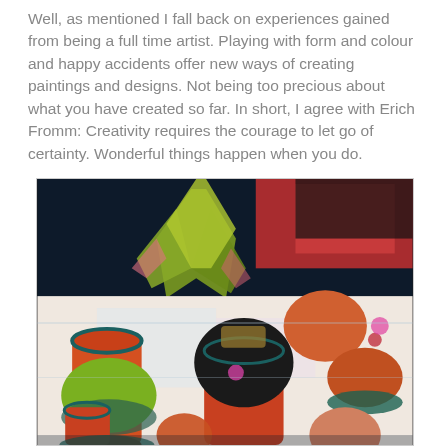Well, as mentioned I fall back on experiences gained from being a full time artist. Playing with form and colour and happy accidents offer new ways of creating paintings and designs. Not being too precious about what you have created so far. In short, I agree with Erich Fromm: Creativity requires the courage to let go of certainty. Wonderful things happen when you do.
[Figure (photo): A colourful still life painting featuring a potted plant with green leaf-like shapes, several orange/red cylindrical pots or vases, round dark and orange fruit-like objects, and a green round object, arranged on a light surface with a dark background.]